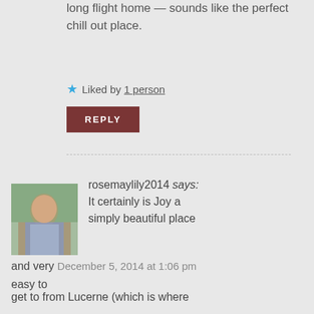long flight home — sounds like the perfect chill out place.
Liked by 1 person
REPLY
rosemaylily2014 says: It certainly is Joy a simply beautiful place and very easy to get to from Lucerne (which is where we were staying when we first discovered it). Anywhere around Lake Lucerne is absolutely stunning — there is also a famous Museum Of
December 5, 2014 at 1:06 pm